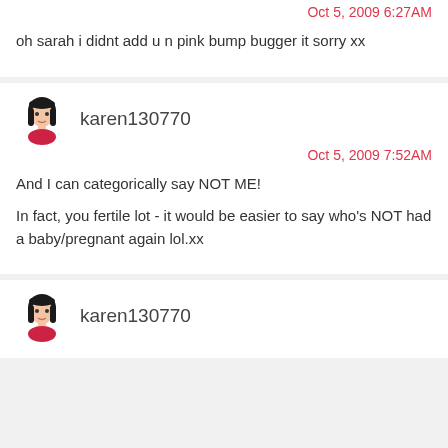Oct 5, 2009 6:27AM
oh sarah i didnt add u n pink bump bugger it sorry xx
karen130770
Oct 5, 2009 7:52AM
And I can categorically say NOT ME!

In fact, you fertile lot - it would be easier to say who's NOT had a baby/pregnant again lol.xx
karen130770
Oct 5, 2009 8:45AM